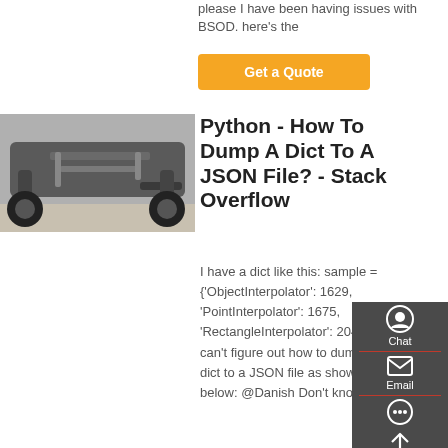please I have been having issues with BSOD. here's the
Get a Quote
[Figure (photo): Underside of a vehicle showing chassis, suspension, and exhaust components]
Python - How To Dump A Dict To A JSON File? - Stack Overflow
I have a dict like this: sample = {'ObjectInterpolator': 1629, 'PointInterpolator': 1675, 'RectangleInterpolator': 2042} I can't figure out how to dump the dict to a JSON file as showed below: @Danish Don't know.